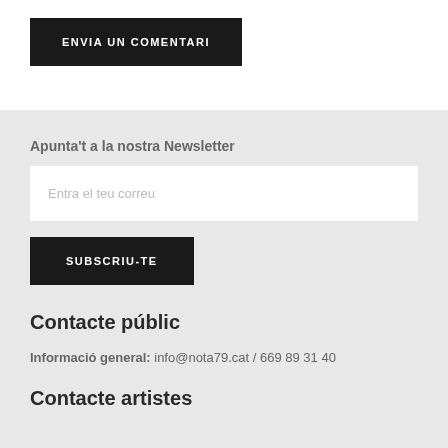ENVIA UN COMENTARI
Apunta't a la nostra Newsletter
Entra el teu correu
SUBSCRIU-TE
Contacte públic
Informació general: info@nota79.cat / 669 89 31 40
Contacte artistes